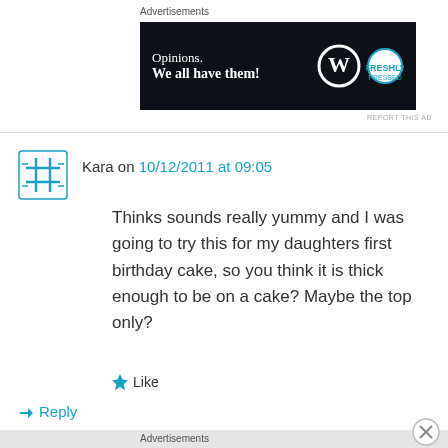Advertisements
[Figure (screenshot): Dark banner ad for WordPress.com: 'Opinions. We all have them!' with WordPress and Freshly Pressed logos]
REPORT THIS AD
Kara on 10/12/2011 at 09:05
Thinks sounds really yummy and I was going to try this for my daughters first birthday cake, so you think it is thick enough to be on a cake? Maybe the top only?
Like
Reply
Advertisements
[Figure (screenshot): WordPress.com ad: 'Simplified pricing for everything you need.' with WordPress.com logo on gradient background]